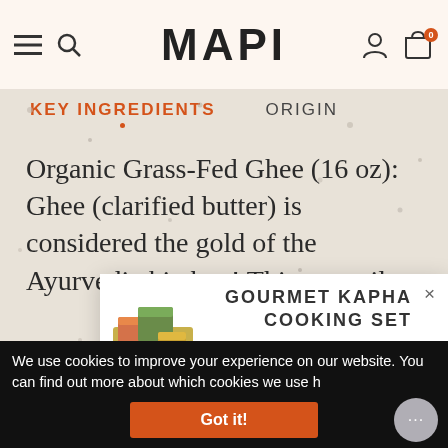MAPI
KEY INGREDIENTS
ORIGIN
Organic Grass-Fed Ghee (16 oz): Ghee (clarified butter) is considered the gold of the Ayurvedic kitchen! This versatile
GOURMET KAPHA COOKING SET
$65.00
We use cookies to improve your experience on our website. You can find out more about which cookies we use h
Got it!